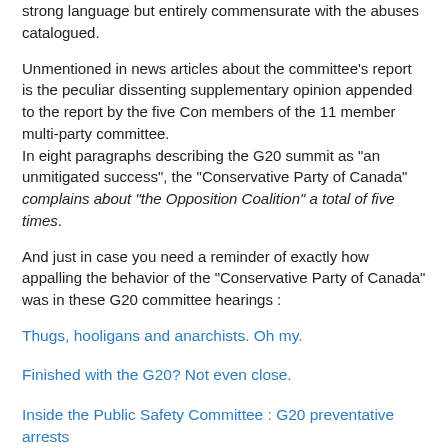strong language but entirely commensurate with the abuses catalogued.
Unmentioned in news articles about the committee's report is the peculiar dissenting supplementary opinion appended to the report by the five Con members of the 11 member multi-party committee.
In eight paragraphs describing the G20 summit as "an unmitigated success", the "Conservative Party of Canada" complains about "the Opposition Coalition" a total of five times.
And just in case you need a reminder of exactly how appalling the behavior of the "Conservative Party of Canada" was in these G20 committee hearings :
Thugs, hooligans and anarchists. Oh my.
Finished with the G20? Not even close.
Inside the Public Safety Committee : G20 preventative arrests